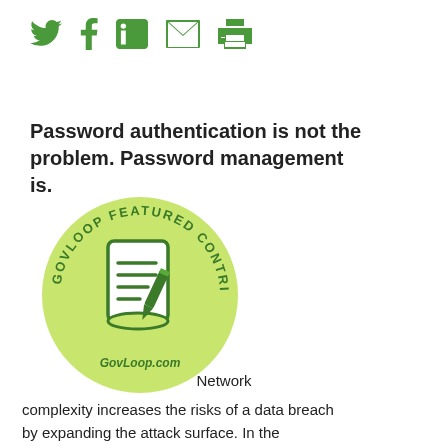[Figure (infographic): Social media share icons: Twitter bird, Facebook f, LinkedIn in, email envelope, print printer — all in green]
Password authentication is not the problem. Password management is.
[Figure (logo): GovLoop Featured Contributor circular badge. Light green background with dark green text around the circle reading GOVLOOP FEATURED CONTRIBUTOR and GovLoop.com at the bottom. Center shows an illustrated document with lines and a pen/pencil.]
Network complexity increases the risks of a data breach by expanding the attack surface. In the